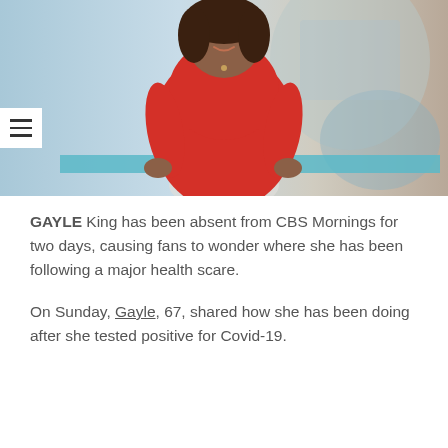[Figure (photo): A woman in a red dress smiling, seated at what appears to be a TV studio set with a blurred background of city skyline and studio elements. A hamburger menu icon is visible on the left side.]
GAYLE King has been absent from CBS Mornings for two days, causing fans to wonder where she has been following a major health scare.
On Sunday, Gayle, 67, shared how she has been doing after she tested positive for Covid-19.